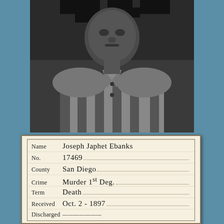[Figure (photo): Black and white mugshot photograph of a prisoner wearing a striped prison uniform. The subject's face is partially obscured/redacted with black marks. The photo appears to be from the late 19th century.]
| Name | Joseph Japhet Ebanks |
| No. | 17469 |
| County | San Diego |
| Crime | Murder 1st Deg. |
| Term | Death |
| Received | Oct. 2 - 1897 |
| Discharged |  |